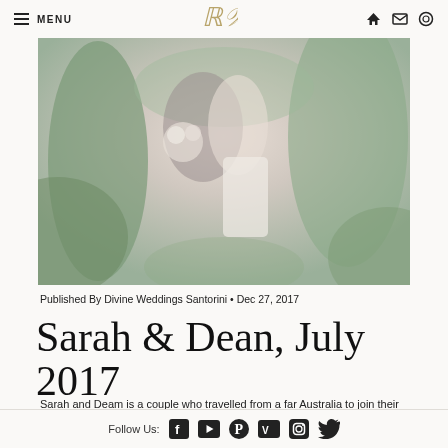MENU | [logo: DW] | [icons: home, mail, ring]
[Figure (photo): A couple embracing outdoors — woman in white lace dress holding a floral bouquet, man in grey suit, surrounded by green foliage and soft light.]
Published By Divine Weddings Santorini • Dec 27, 2017
Sarah & Dean, July 2017
Sarah and Deam is a couple who travelled from a far Australia to join their hearts in Santorini. It was a honor for us to be a part of celebration of their love and sharing those
Follow Us: [Facebook] [YouTube] [Pinterest] [Vimeo] [Instagram] [Twitter]